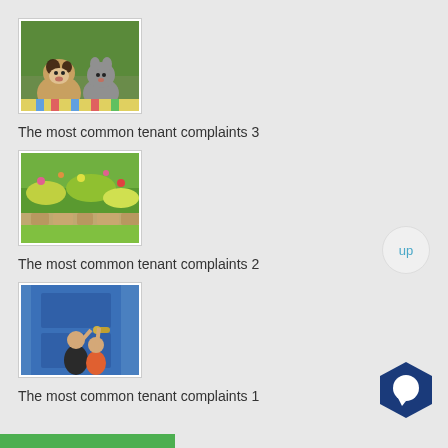[Figure (photo): A puppy and a kitten sitting together outdoors on colorful fabric]
The most common tenant complaints 3
[Figure (photo): A colorful garden with flowers and stone edging]
The most common tenant complaints 2
[Figure (photo): Two children reaching up to knock on a blue door with a gold handle]
The most common tenant complaints 1
[Figure (other): Green bar partially visible at bottom of page]